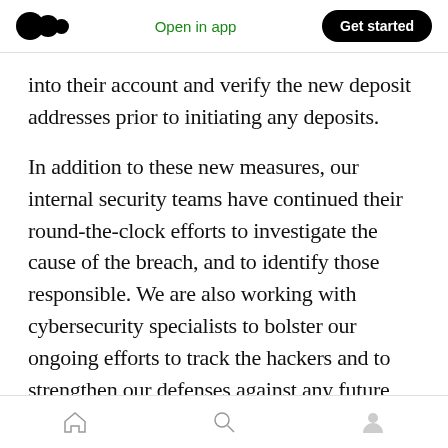Open in app | Get started
into their account and verify the new deposit addresses prior to initiating any deposits.
In addition to these new measures, our internal security teams have continued their round-the-clock efforts to investigate the cause of the breach, and to identify those responsible. We are also working with cybersecurity specialists to bolster our ongoing efforts to track the hackers and to strengthen our defenses against any future attack.
We have been in contact with law enforcement
Home | Search | Profile